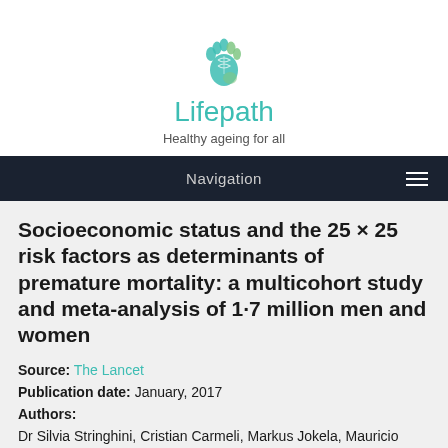[Figure (logo): Lifepath project logo: a stylized footprint made of teal/green DNA helix shapes]
Lifepath
Healthy ageing for all
Navigation
Socioeconomic status and the 25 × 25 risk factors as determinants of premature mortality: a multicohort study and meta-analysis of 1·7 million men and women
Source: The Lancet
Publication date: January, 2017
Authors:
Dr Silvia Stringhini, Cristian Carmeli, Markus Jokela, Mauricio